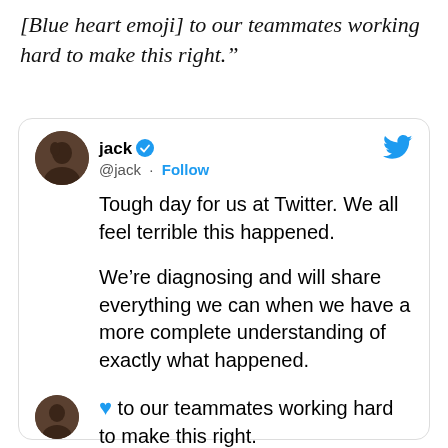[Blue heart emoji] to our teammates working hard to make this right.”
[Figure (screenshot): Screenshot of a tweet by @jack (Jack Dorsey, Twitter CEO) with verified badge and Twitter bird logo. Tweet reads: 'Tough day for us at Twitter. We all feel terrible this happened. We’re diagnosing and will share everything we can when we have a more complete understanding of exactly what happened. [Blue heart emoji] to our teammates working hard to make this right.' Timestamp: 1:18 AM · Jul 16, 2020]